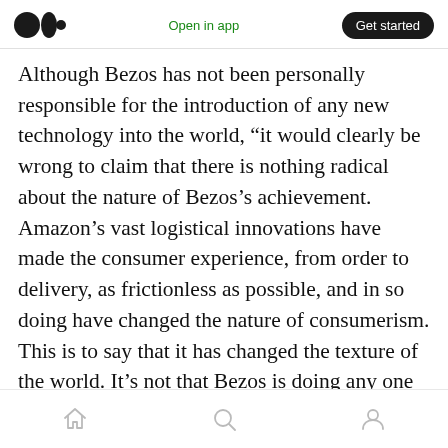Medium logo | Open in app | Get started
Although Bezos has not been personally responsible for the introduction of any new technology into the world, “it would clearly be wrong to claim that there is nothing radical about the nature of Bezos’s achievement. Amazon’s vast logistical innovations have made the consumer experience, from order to delivery, as frictionless as possible, and in so doing have changed the nature of consumerism. This is to say that it has changed the texture of the world. It’s not that Bezos is doing any one thing that no one had thought to do before: it’s that he’s doing
Home | Search | Profile